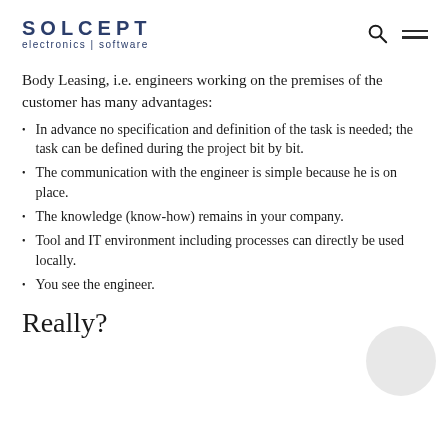SOLCEPT electronics | software
Body Leasing, i.e. engineers working on the premises of the customer has many advantages:
In advance no specification and definition of the task is needed; the task can be defined during the project bit by bit.
The communication with the engineer is simple because he is on place.
The knowledge (know-how) remains in your company.
Tool and IT environment including processes can directly be used locally.
You see the engineer.
Really?